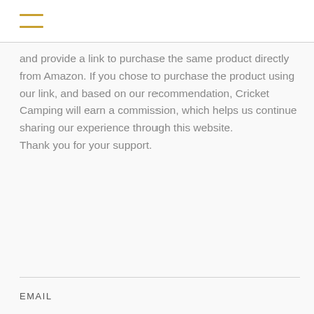and provide a link to purchase the same product directly from Amazon. If you chose to purchase the product using our link, and based on our recommendation, Cricket Camping will earn a commission, which helps us continue sharing our experience through this website.
Thank you for your support.
EMAIL